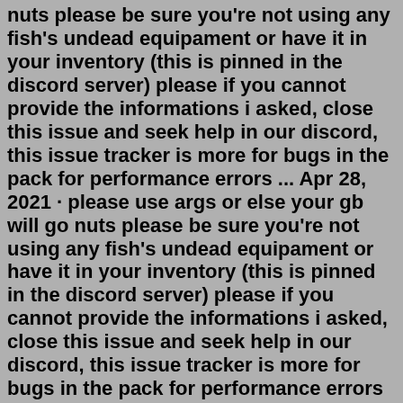nuts please be sure you're not using any fish's undead equipament or have it in your inventory (this is pinned in the discord server) please if you cannot provide the informations i asked, close this issue and seek help in our discord, this issue tracker is more for bugs in the pack for performance errors ... Apr 28, 2021 · please use args or else your gb will go nuts please be sure you're not using any fish's undead equipament or have it in your inventory (this is pinned in the discord server) please if you cannot provide the informations i asked, close this issue and seek help in our discord, this issue tracker is more for bugs in the pack for performance errors ... Aug 04, 2012 · 1244573. Welcome to Eternal-MC! Your number one stop for Role-Playing Minecraft Servers, Eternal-MC boasts amazing landscapes, majestic buildings, exciting dungeons, fascinating storytelling and friendly staff. At our minimalistic spawn you'll find a chest with a varied assortment of items to get you off and exploring. The Eternal update adds more content to the nether including a post Ender Dragon